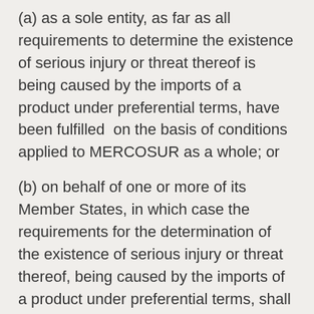(a) as a sole entity, as far as all requirements to determine the existence of serious injury or threat thereof is being caused by the imports of a product under preferential terms, have been fulfilled  on the basis of conditions applied to MERCOSUR as a whole; or
(b) on behalf of one or more of its Member States, in which case the requirements for the determination of the existence of serious injury or threat thereof, being caused by the imports of a product under preferential terms, shall be based on the conditions prevailing in the relevant Member State(s) of the customs union and the measure shall be limited to that Member State(s). The adoption of a bilateral safeguard measure by one of the Mercosur Member State shall not prevent another Mercosur Member State from adopting a measure regarding the same product